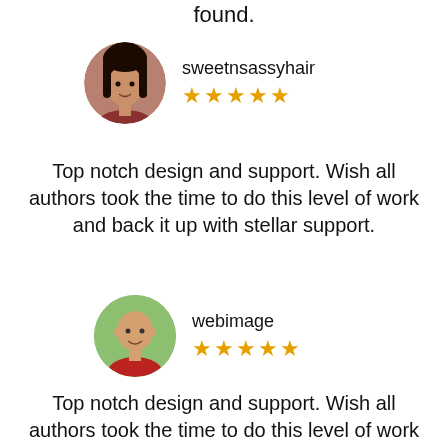found.
[Figure (photo): Circular avatar photo of a woman with dark hair, smiling]
sweetnsassyhair ★★★★★
Top notch design and support. Wish all authors took the time to do this level of work and back it up with stellar support.
[Figure (photo): Circular avatar photo of a bald man smiling, wearing a red shirt]
webimage ★★★★★
Top notch design and support. Wish all authors took the time to do this level of work and back it up with stellar support.